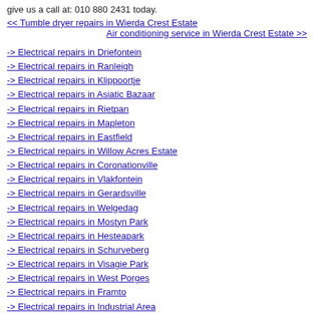give us a call at: 010 880 2431 today.
<< Tumble dryer repairs in Wierda Crest Estate
Air conditioning service in Wierda Crest Estate >>
-> Electrical repairs in Driefontein
-> Electrical repairs in Ranleigh
-> Electrical repairs in Klippoortje
-> Electrical repairs in Asiatic Bazaar
-> Electrical repairs in Rietpan
-> Electrical repairs in Mapleton
-> Electrical repairs in Eastfield
-> Electrical repairs in Willow Acres Estate
-> Electrical repairs in Coronationville
-> Electrical repairs in Vlakfontein
-> Electrical repairs in Gerardsville
-> Electrical repairs in Welgedag
-> Electrical repairs in Mostyn Park
-> Electrical repairs in Hesteapark
-> Electrical repairs in Schurveberg
-> Electrical repairs in Visagie Park
-> Electrical repairs in West Porges
-> Electrical repairs in Framto
-> Electrical repairs in Industrial Area
-> Electrical repairs in Springbokvlakte
-> Electrical repairs in Martindale
-> Electrical repairs in Sunward Park
-> Electrical repairs in Botanvola